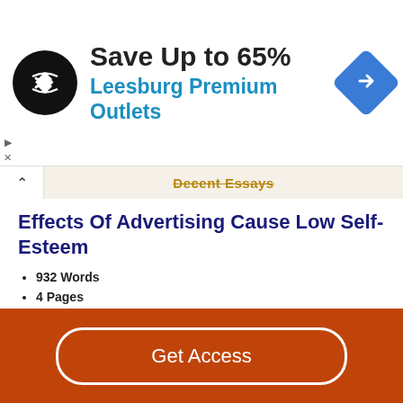[Figure (infographic): Advertisement banner: black circular logo with double arrow symbol, text 'Save Up to 65% Leesburg Premium Outlets', blue diamond navigation icon on right]
Decent Essays
Effects Of Advertising Cause Low Self-Esteem
932 Words
4 Pages
can cause low self-esteem and lead to health issues. First, I will explain what a person's identity means. A person's identity is who you are, the way you think about yourself, the way you are viewed by the world and the characteristics that
Get Access